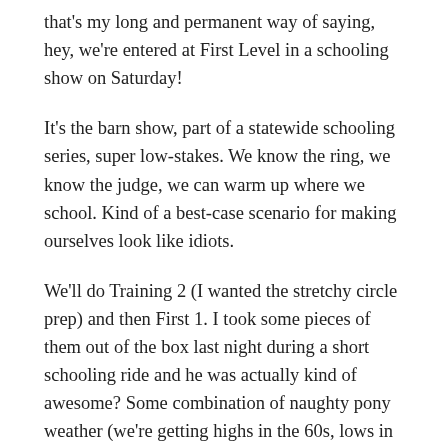that's my long and permanent way of saying, hey, we're entered at First Level in a schooling show on Saturday!
It's the barn show, part of a statewide schooling series, super low-stakes. We know the ring, we know the judge, we can warm up where we school. Kind of a best-case scenario for making ourselves look like idiots.
We'll do Training 2 (I wanted the stretchy circle prep) and then First 1. I took some pieces of them out of the box last night during a short schooling ride and he was actually kind of awesome? Some combination of naughty pony weather (we're getting highs in the 60s, lows in the 40s overnight) and my new level of expectations for him have started to pay off. My fitness outside of the saddle is really starting to pay off, too; I